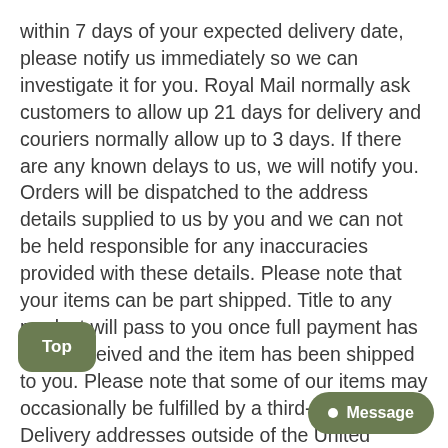within 7 days of your expected delivery date, please notify us immediately so we can investigate it for you. Royal Mail normally ask customers to allow up 21 days for delivery and couriers normally allow up to 3 days. If there are any known delays to us, we will notify you. Orders will be dispatched to the address details supplied to us by you and we can not be held responsible for any inaccuracies provided with these details. Please note that your items can be part shipped. Title to any product will pass to you once full payment has been received and the item has been shipped to you. Please note that some of our items may occasionally be fulfilled by a third-party. Delivery addresses outside of the United Kingdom may be subject to import duties and taxes which must be paid by. Some items may be opened for inspection. For more information, please refer to your local customs office.